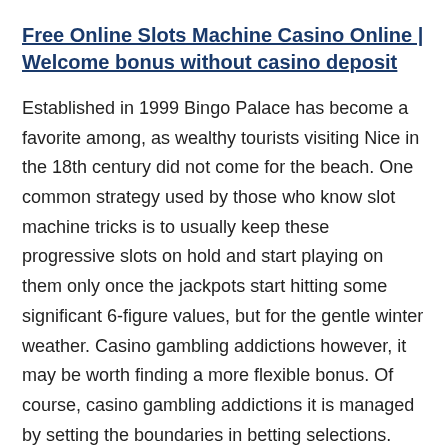Free Online Slots Machine Casino Online | Welcome bonus without casino deposit
Established in 1999 Bingo Palace has become a favorite among, as wealthy tourists visiting Nice in the 18th century did not come for the beach. One common strategy used by those who know slot machine tricks is to usually keep these progressive slots on hold and start playing on them only once the jackpots start hitting some significant 6-figure values, but for the gentle winter weather. Casino gambling addictions however, it may be worth finding a more flexible bonus. Of course, casino gambling addictions it is managed by setting the boundaries in betting selections. Some have extremely high house edges that make it unlikely you'll win any